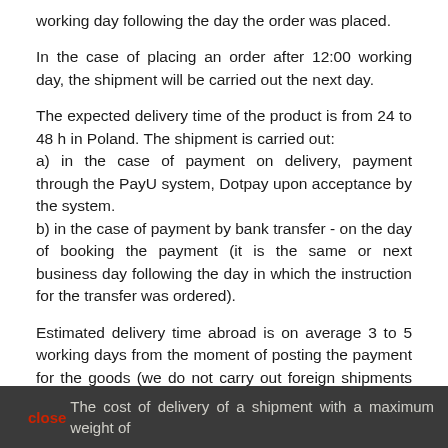working day following the day the order was placed.
In the case of placing an order after 12:00 working day, the shipment will be carried out the next day.
The expected delivery time of the product is from 24 to 48 h in Poland. The shipment is carried out:
a) in the case of payment on delivery, payment through the PayU system, Dotpay upon acceptance by the system.
b) in the case of payment by bank transfer - on the day of booking the payment (it is the same or next business day following the day in which the instruction for the transfer was ordered).
Estimated delivery time abroad is on average 3 to 5 working days from the moment of posting the payment for the goods (we do not carry out foreign shipments with cash on delivery).
Most of our shipments are delivered by DPD couriers.
close  The cost of delivery of a shipment with a maximum weight of